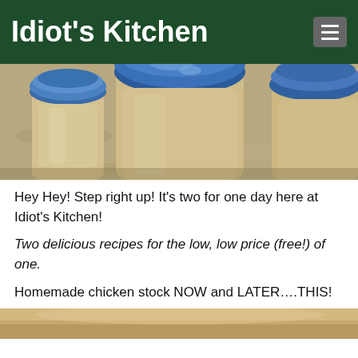Idiot's Kitchen
[Figure (photo): Three small glass jars with blue lids containing pale yellow liquid (homemade chicken stock), sitting on a granite countertop.]
Hey Hey! Step right up! It's two for one day here at Idiot's Kitchen!
Two delicious recipes for the low, low price (free!) of one.
Homemade chicken stock NOW and LATER….THIS!
[Figure (photo): Partial photo visible at bottom of page, appears to show food on a plate or dish.]